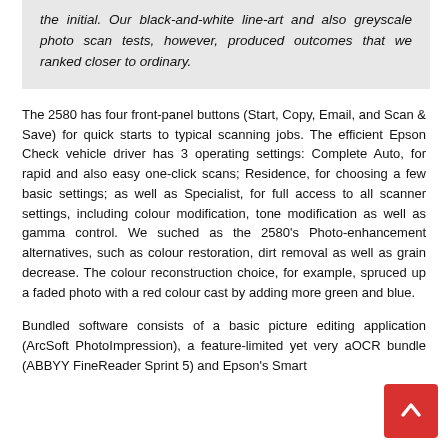the initial. Our black-and-white line-art and also greyscale photo scan tests, however, produced outcomes that we ranked closer to ordinary.
The 2580 has four front-panel buttons (Start, Copy, Email, and Scan & Save) for quick starts to typical scanning jobs. The efficient Epson Check vehicle driver has 3 operating settings: Complete Auto, for rapid and also easy one-click scans; Residence, for choosing a few basic settings; as well as Specialist, for full access to all scanner settings, including colour modification, tone modification as well as gamma control. We suched as the 2580's Photo-enhancement alternatives, such as colour restoration, dirt removal as well as grain decrease. The colour reconstruction choice, for example, spruced up a faded photo with a red colour cast by adding more green and blue.
Bundled software consists of a basic picture editing application (ArcSoft PhotoImpression), a feature-limited yet very able OCR bundle (ABBYY FineReader Sprint 5) and Epson's Smart